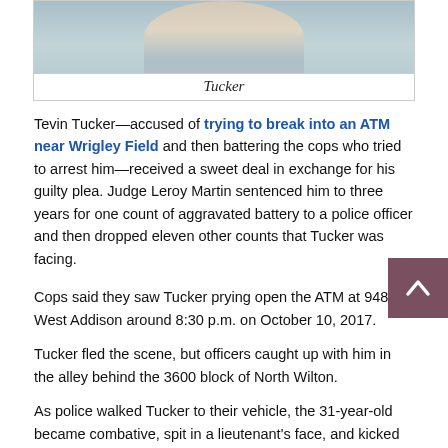[Figure (photo): Partial photo of Tevin Tucker, cropped showing upper torso/neck, wearing a light blue shirt]
Tucker
Tevin Tucker—accused of trying to break into an ATM near Wrigley Field and then battering the cops who tried to arrest him—received a sweet deal in exchange for his guilty plea. Judge Leroy Martin sentenced him to three years for one count of aggravated battery to a police officer and then dropped eleven other counts that Tucker was facing.
Cops said they saw Tucker prying open the ATM at 948 West Addison around 8:30 p.m. on October 10, 2017.
Tucker fled the scene, but officers caught up with him in the alley behind the 3600 block of North Wilton.
As police walked Tucker to their vehicle, the 31-year-old became combative, spit in a lieutenant's face, and kicked